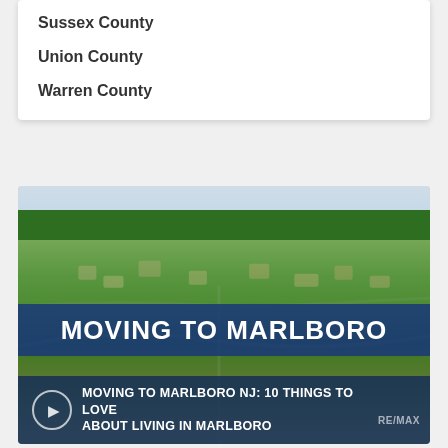Sussex County
Union County
Warren County
[Figure (photo): Aerial view of Marlboro NJ suburb with green trees and residential areas, overlaid with 'MOVING TO MARLBORO' banner and caption 'MOVING TO MARLBORO NJ: 10 THINGS TO LOVE ABOUT LIVING IN MARLBORO' with RE/MAX branding]
MOVING TO MARLBORO NJ: 10 THINGS TO LOVE ABOUT LIVING IN MARLBORO